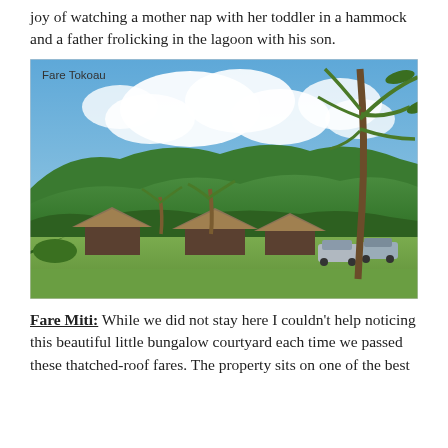joy of watching a mother nap with her toddler in a hammock and a father frolicking in the lagoon with his son.
[Figure (photo): Outdoor photograph labeled 'Fare Tokoau' showing thatched-roof bungalows (fares) on a grassy lawn, with tall palm trees, tropical vegetation, lush green hills in the background, cars parked near the bungalows, and a dramatic blue sky with white clouds.]
Fare Miti: While we did not stay here I couldn't help noticing this beautiful little bungalow courtyard each time we passed these thatched-roof fares. The property sits on one of the best